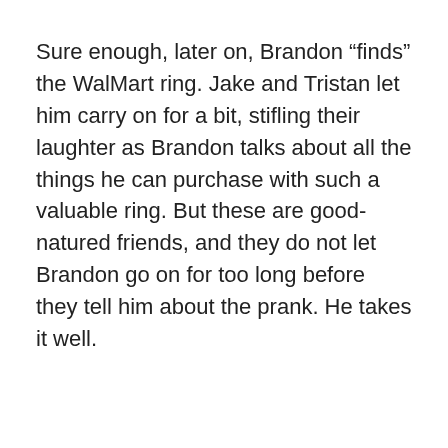Sure enough, later on, Brandon “finds” the WalMart ring. Jake and Tristan let him carry on for a bit, stifling their laughter as Brandon talks about all the things he can purchase with such a valuable ring. But these are good-natured friends, and they do not let Brandon go on for too long before they tell him about the prank. He takes it well.